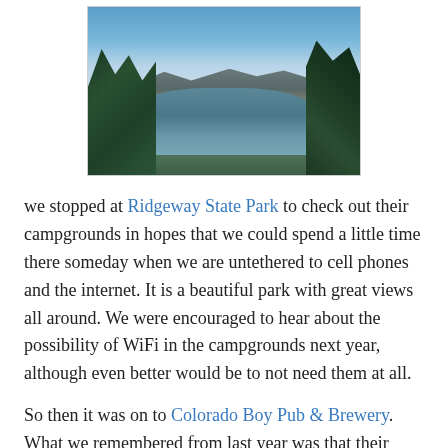[Figure (photo): Aerial or elevated view of a reservoir or lake surrounded by pine trees and mountains under a partly cloudy blue sky, likely at Ridgeway State Park, Colorado.]
we stopped at Ridgeway State Park to check out their campgrounds in hopes that we could spend a little time there someday when we are untethered to cell phones and the internet. It is a beautiful park with great views all around. We were encouraged to hear about the possibility of WiFi in the campgrounds next year, although even better would be to not need them at all.
So then it was on to Colorado Boy Pub & Brewery. What we remembered from last year was that their excellent